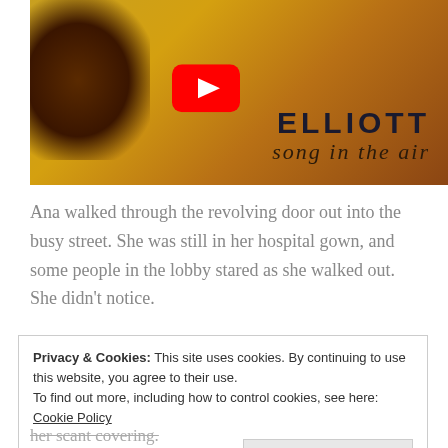[Figure (screenshot): YouTube video thumbnail for 'ELLIOTT - song in the air'. Golden/amber background with dark patches, red YouTube play button, text reading ELLIOTT and song in the air.]
Ana walked through the revolving door out into the busy street. She was still in her hospital gown, and some people in the lobby stared as she walked out. She didn't notice.
Privacy & Cookies: This site uses cookies. By continuing to use this website, you agree to their use.
To find out more, including how to control cookies, see here: Cookie Policy
Close and accept
her scant covering.